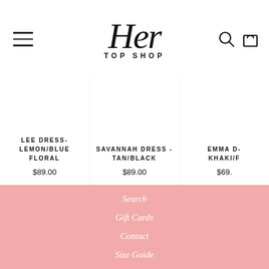Her Top Shop - navigation header with logo, hamburger menu, search and cart icons
LEE DRESS- LEMON/BLUE FLORAL $89.00
SAVANNAH DRESS - TAN/BLACK $89.00
EMMA D... KHAKI/F... $69...
Search
Gift Cards
Contact
Size Guide